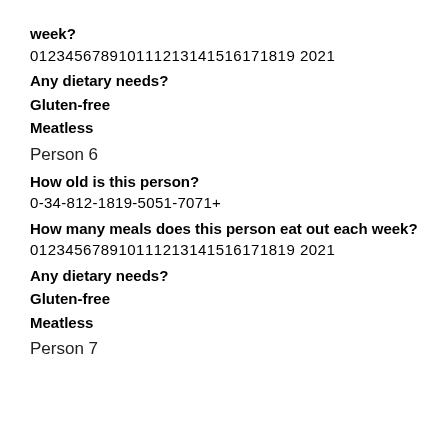week?
012345678910111213141516171819 2021
Any dietary needs?
Gluten-free
Meatless
Person 6
How old is this person?
0-34-812-1819-5051-7071+
How many meals does this person eat out each week?
012345678910111213141516171819 2021
Any dietary needs?
Gluten-free
Meatless
Person 7